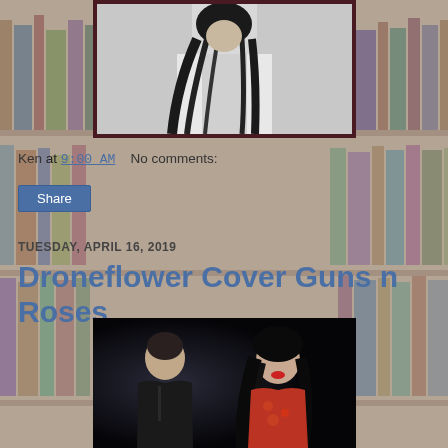[Figure (photo): Black and white photo of a person with long dark hair wearing a white jacket, shown from shoulders up]
Ken at 9:00 AM    No comments:
Share
TUESDAY, APRIL 16, 2019
Droneflower Cover Guns n Roses
[Figure (photo): Photo of a man and woman posing together; man wears black jacket, woman wears red patterned top with long dark hair]